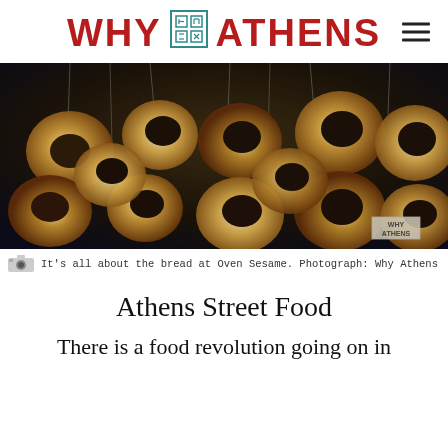WHY ATHENS
[Figure (photo): Multiple bagels/sesame bread rings hanging from strings against a dark background, showing golden-brown baked goods. A 'Why Athens' watermark is visible in the bottom right corner.]
It's all about the bread at Oven Sesame. Photograph: Why Athens
Athens Street Food
There is a food revolution going on in